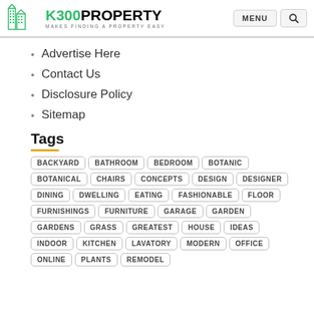K300PROPERTY — MAKES FINDING A PROPERTY EASY
Advertise Here
Contact Us
Disclosure Policy
Sitemap
Tags
BACKYARD, BATHROOM, BEDROOM, BOTANIC, BOTANICAL, CHAIRS, CONCEPTS, DESIGN, DESIGNER, DINING, DWELLING, EATING, FASHIONABLE, FLOOR, FURNISHINGS, FURNITURE, GARAGE, GARDEN, GARDENS, GRASS, GREATEST, HOUSE, IDEAS, INDOOR, KITCHEN, LAVATORY, MODERN, OFFICE, ONLINE, PLANTS, REMODEL